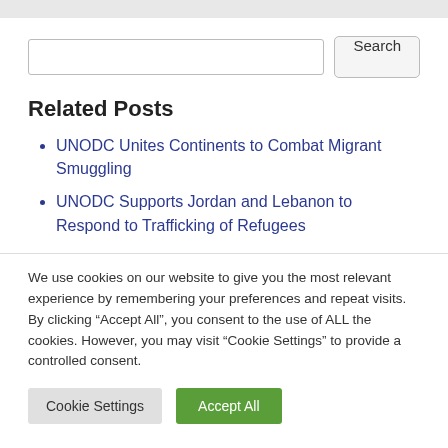[Figure (screenshot): Top gray bar representing page header area]
[Figure (screenshot): Search input box with Search button]
Related Posts
UNODC Unites Continents to Combat Migrant Smuggling
UNODC Supports Jordan and Lebanon to Respond to Trafficking of Refugees
We use cookies on our website to give you the most relevant experience by remembering your preferences and repeat visits. By clicking “Accept All”, you consent to the use of ALL the cookies. However, you may visit “Cookie Settings” to provide a controlled consent.
Cookie Settings | Accept All